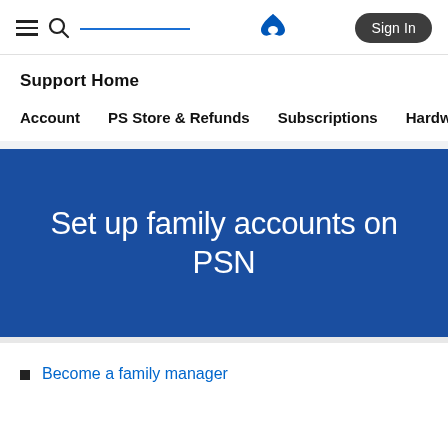Support Home
Account   PS Store & Refunds   Subscriptions   Hardw>
Set up family accounts on PSN
Become a family manager